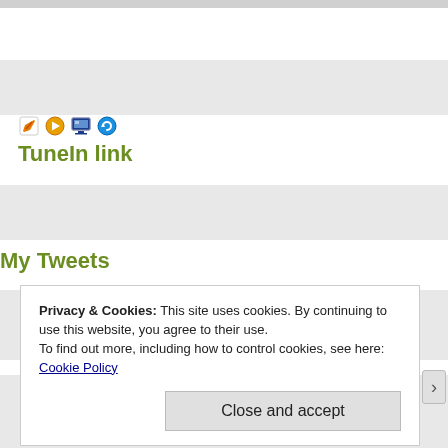[Figure (screenshot): Four small toolbar/media icons in a row]
TuneIn link
My Tweets
Privacy & Cookies: This site uses cookies. By continuing to use this website, you agree to their use.
To find out more, including how to control cookies, see here: Cookie Policy
Close and accept